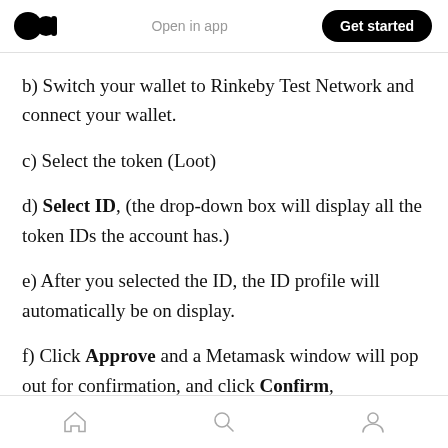Open in app | Get started
b) Switch your wallet to Rinkeby Test Network and connect your wallet.
c) Select the token (Loot)
d) Select ID, (the drop-down box will display all the token IDs the account has.)
e) After you selected the ID, the ID profile will automatically be on display.
f) Click Approve and a Metamask window will pop out for confirmation, and click Confirm,
home | search | profile